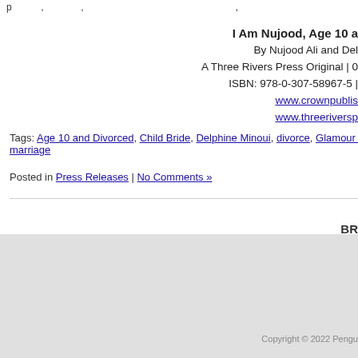p , ,
I Am Nujood, Age 10 a
By Nujood Ali and Del
A Three Rivers Press Original | 0
ISBN: 978-0-307-58967-5 |
www.crownpublis
www.threeriversp
Tags: Age 10 and Divorced, Child Bride, Delphine Minoui, divorce, Glamour Wom, marriage
Posted in Press Releases | No Comments »
BR
[Figure (logo): Facebook button icon with white 'f' on dark blue background]
Copyright © 2022 Pengu